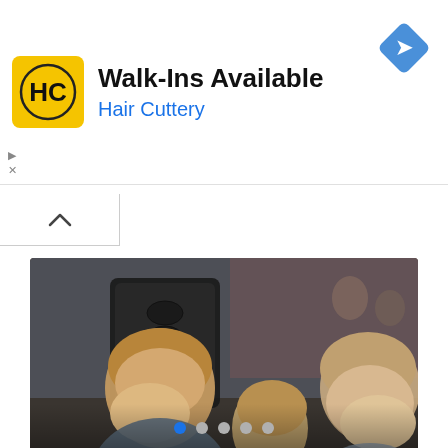[Figure (screenshot): Hair Cuttery advertisement banner with yellow logo, 'Walk-Ins Available' headline, 'Hair Cuttery' subtitle in blue, and a blue diamond navigation icon on the right.]
[Figure (other): Collapse/minimize button with upward chevron arrow.]
[Figure (photo): Photo of Prince George, Princess Charlotte, and Prince Louis sitting together, with overlaid white bold text reading: 'Prince George, Princess Charlotte and Prince Louis are Enrolling in a New School With So Many Unique Perks']
Prince George, Princess Charlotte and Prince Louis are Enrolling in a New School With So Many Unique Perks